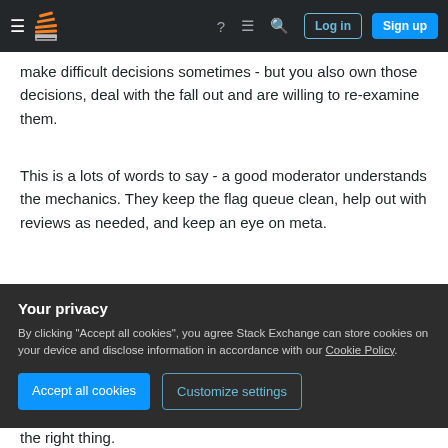Stack Exchange navigation bar with hamburger menu, logo, help, chat, search icons, Log in and Sign up buttons
make difficult decisions sometimes - but you also own those decisions, deal with the fall out and are willing to re-examine them.
This is a lots of words to say - a good moderator understands the mechanics. They keep the flag queue clean, help out with reviews as needed, and keep an eye on meta.
To go beyond that though - 'greatness' is about empathy and care for your community. The humility to listen and understand the problems the folks
Your privacy
By clicking "Accept all cookies", you agree Stack Exchange can store cookies on your device and disclose information in accordance with our Cookie Policy.
Accept all cookies   Customize settings
the right thing.